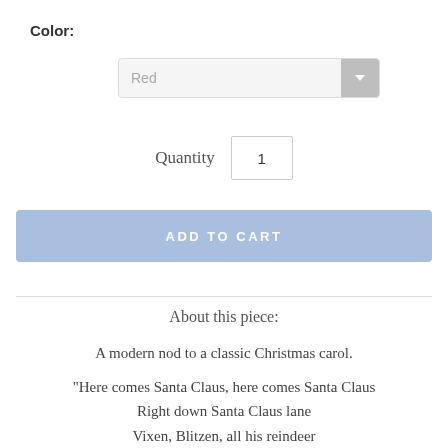Color:
[Figure (screenshot): A dropdown select field showing 'Red' with a grey arrow button on the right]
Quantity  1
ADD TO CART
About this piece:
A modern nod to a classic Christmas carol.
"Here comes Santa Claus, here comes Santa Claus
Right down Santa Claus lane
Vixen, Blitzen, all his reindeer